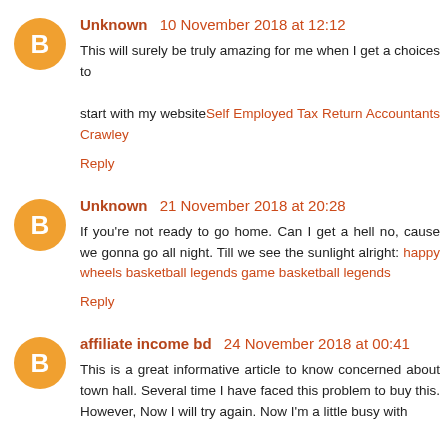Unknown 10 November 2018 at 12:12
This will surely be truly amazing for me when I get a choices to

start with my website Self Employed Tax Return Accountants Crawley

Reply
Unknown 21 November 2018 at 20:28
If you're not ready to go home. Can I get a hell no, cause we gonna go all night. Till we see the sunlight alright: happy wheels basketball legends game basketball legends

Reply
affiliate income bd 24 November 2018 at 00:41
This is a great informative article to know concerned about town hall. Several time I have faced this problem to buy this. However, Now I will try again. Now I'm a little busy with